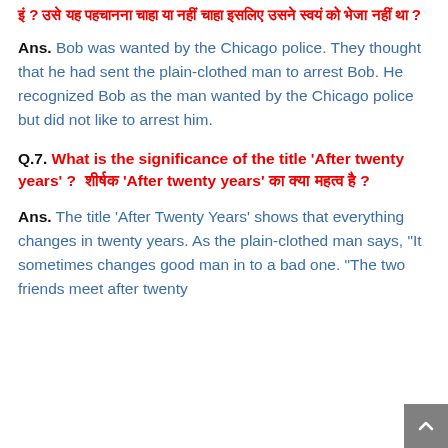इं ? उसे यह पहचानना चाहा या नहीं चाहा इसलिए उसने स्वयं को भेजा नहीं था ?
Ans. Bob was wanted by the Chicago police. They thought that he had sent the plain-clothed man to arrest Bob. He recognized Bob as the man wanted by the Chicago police but did not like to arrest him.
Q.7. What is the significance of the title 'After twenty years' ? शीर्षक 'After twenty years' का क्या महत्व है ?
Ans. The title 'After Twenty Years' shows that everything changes in twenty years. As the plain-clothed man says, "It sometimes changes good man in to a bad one. "The two friends meet after twenty